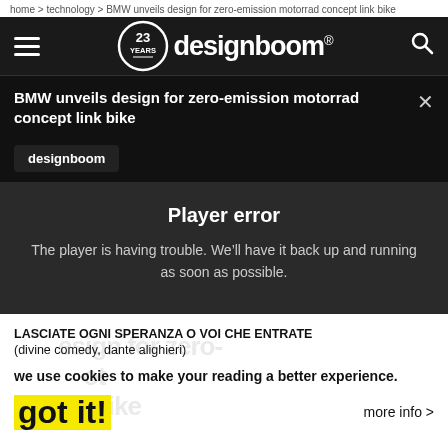home > technology > BMW unveils design for zero-emission motorrad concept link bike
[Figure (logo): Designboom website navigation bar with hamburger menu, 23 Years logo badge, designboom wordmark, and search icon on dark background]
BMW unveils design for zero-emission motorrad concept link bike
designboom
Player error
The player is having trouble. We'll have it back up and running as soon as possible.
LASCIATE OGNI SPERANZA O VOI CHE ENTRATE
(divine comedy, dante alighieri)
we use cookies to make your reading a better experience.
got it!
more info >